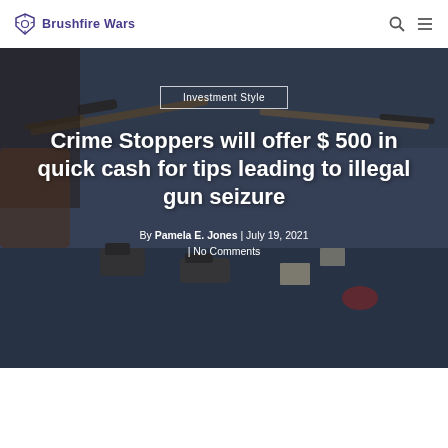Brushfire Wars
[Figure (photo): A table covered with a blue cloth displaying seized firearms and weapons including rifles with scopes and handguns, used as the hero image background for the article.]
Investment Style
Crime Stoppers will offer $ 500 in quick cash for tips leading to illegal gun seizure
By Pamela E. Jones  |  July 19, 2021
| No Comments